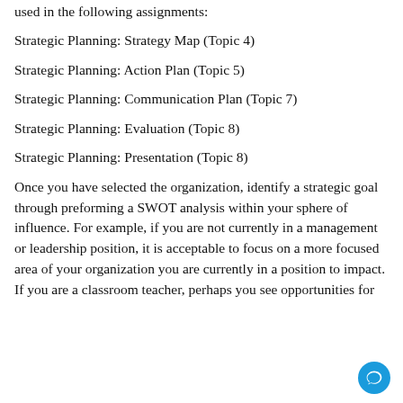used in the following assignments:
Strategic Planning: Strategy Map (Topic 4)
Strategic Planning: Action Plan (Topic 5)
Strategic Planning: Communication Plan (Topic 7)
Strategic Planning: Evaluation (Topic 8)
Strategic Planning: Presentation (Topic 8)
Once you have selected the organization, identify a strategic goal through preforming a SWOT analysis within your sphere of influence. For example, if you are not currently in a management or leadership position, it is acceptable to focus on a more focused area of your organization you are currently in a position to impact. If you are a classroom teacher, perhaps you see opportunities for